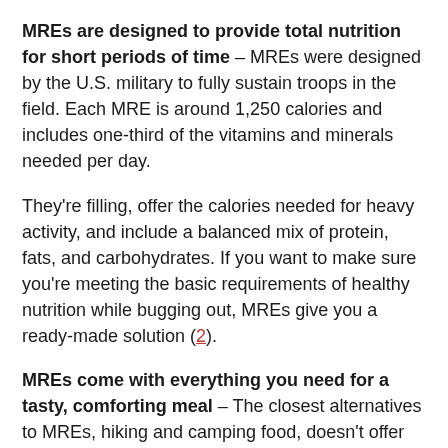MREs are designed to provide total nutrition for short periods of time – MREs were designed by the U.S. military to fully sustain troops in the field. Each MRE is around 1,250 calories and includes one-third of the vitamins and minerals needed per day.
They're filling, offer the calories needed for heavy activity, and include a balanced mix of protein, fats, and carbohydrates. If you want to make sure you're meeting the basic requirements of healthy nutrition while bugging out, MREs give you a ready-made solution (2).
MREs come with everything you need for a tasty, comforting meal – The closest alternatives to MREs, hiking and camping food, doesn't offer nearly the comfort level that an MRE does. They're almost always sold as entrees only, with sides and other add-ons up to you to provide.